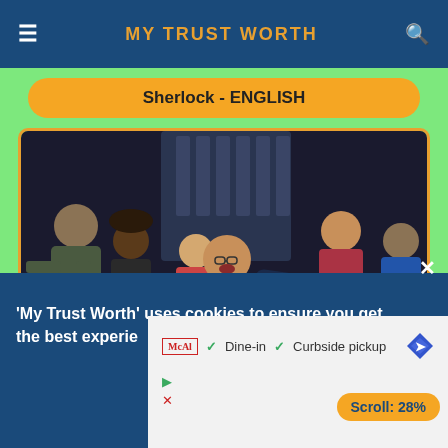MY TRUST WORTH
Sherlock - ENGLISH
[Figure (photo): Movie promotional image for 'The Last Bus' series showing a group of young people, with a central character in a red shirt with arms outstretched, and 'THE' visible as part of the title overlay at the bottom]
Scroll: 28%
'My Trust Worth' uses cookies to ensure you get the best experience
[Figure (other): Advertisement showing McAl logo with checkmarks for Dine-in and Curbside pickup options, and a blue navigation diamond icon]